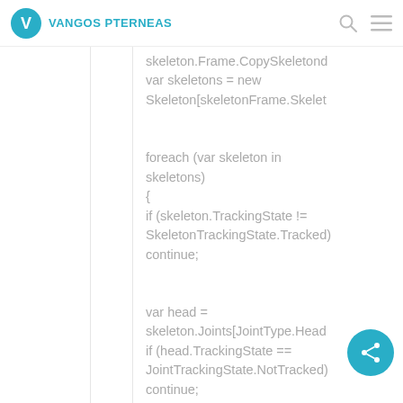VANGOS PTERNEAS
skeleton.Frame.CopySkeletonDataTo(skeletonData);
var skeletons = new Skeleton[skeletonFrame.SkeletonArrayLength];

foreach (var skeleton in skeletons)
{
if (skeleton.TrackingState != SkeletonTrackingState.Tracked)
continue;

var head = skeleton.Joints[JointType.Head];
if (head.TrackingState == JointTrackingState.NotTracked)
continue;